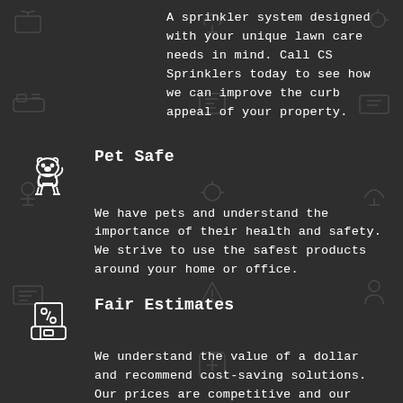A sprinkler system designed with your unique lawn care needs in mind. Call CS Sprinklers today to see how we can improve the curb appeal of your property.
[Figure (illustration): White line-art icon of a dog/pet]
Pet Safe
We have pets and understand the importance of their health and safety. We strive to use the safest products around your home or office.
[Figure (illustration): White line-art icon of a calendar/receipt with percentage sign]
Fair Estimates
We understand the value of a dollar and recommend cost-saving solutions. Our prices are competitive and our sprinkler service is superior.
[Figure (illustration): White line-art icon of a child/person]
Child Safe